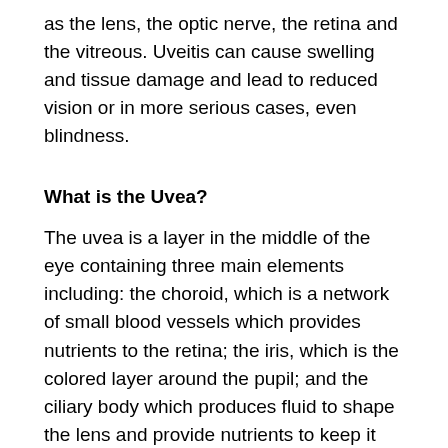as the lens, the optic nerve, the retina and the vitreous. Uveitis can cause swelling and tissue damage and lead to reduced vision or in more serious cases, even blindness.
What is the Uvea?
The uvea is a layer in the middle of the eye containing three main elements including: the choroid, which is a network of small blood vessels which provides nutrients to the retina; the iris, which is the colored layer around the pupil; and the ciliary body which produces fluid to shape the lens and provide nutrients to keep it healthy.
Types of Uveitis